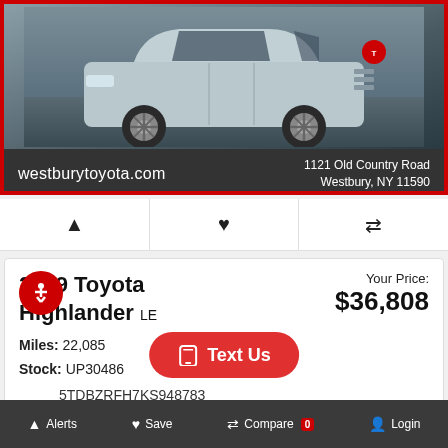[Figure (screenshot): Toyota Highlander vehicle photo with dealer banner showing westburytoyota.com and address 1121 Old Country Road, Westbury, NY 11590]
westburytoyota.com   1121 Old Country Road  Westbury, NY 11590
🔔 ♥ ⇄ (alert, save, compare icons)
2019 Toyota Highlander LE
Your Price: $36,808
Miles: 22,085
Stock: UP30486
5TDBZRFH7KS948783
Value Your Trade 🖩
[Figure (screenshot): Westbury Toyota Superstore dealer logo and phone number 516-272-4499]
516-272-4499
Text Us
Alerts  Save  Compare 0  Login